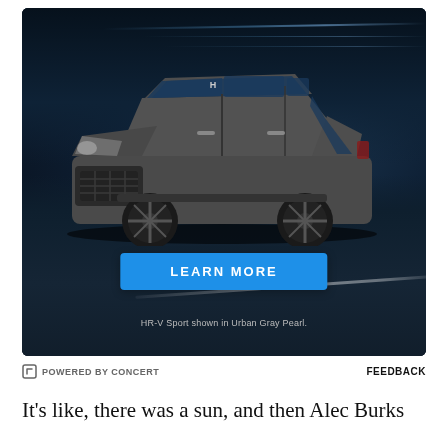[Figure (photo): Honda HR-V Sport SUV shown in Urban Gray Pearl color, driving on a dark road with blue tunnel lights in the background. A blue 'LEARN MORE' button is overlaid at the bottom center of the image. Small white text below reads 'HR-V Sport shown in Urban Gray Pearl.']
⊢ POWERED BY CONCERT    FEEDBACK
It's like, there was a sun, and then Alec Burks